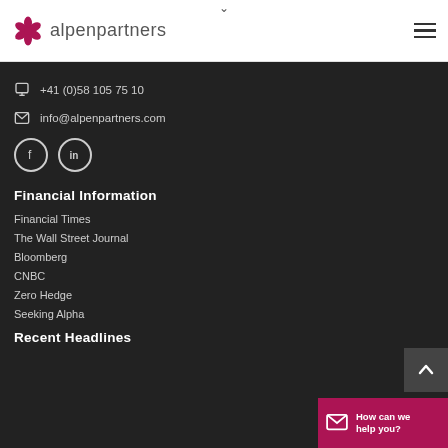alpenpartners
+41 (0)58 105 75 10
info@alpenpartners.com
Financial Information
Financial Times
The Wall Street Journal
Bloomberg
CNBC
Zero Hedge
Seeking Alpha
Recent Headlines
How can we help you?